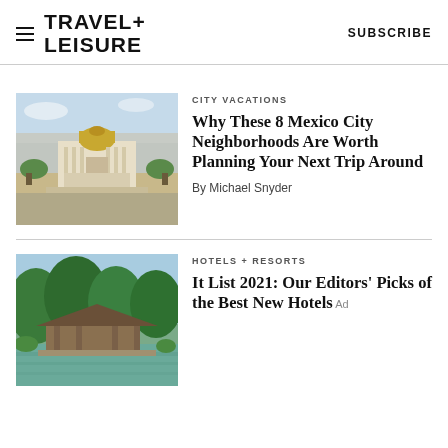TRAVEL+ LEISURE   SUBSCRIBE
CITY VACATIONS
Why These 8 Mexico City Neighborhoods Are Worth Planning Your Next Trip Around
By Michael Snyder
[Figure (photo): Aerial view of Palacio de Bellas Artes in Mexico City with surrounding streets and greenery]
HOTELS + RESORTS
It List 2021: Our Editors' Picks of the Best New Hotels
[Figure (photo): Resort on water with wooden structures and large trees in a lush green landscape]